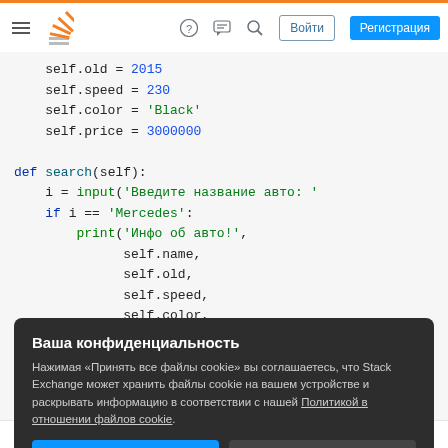[Figure (screenshot): Stack Overflow navigation bar with hamburger menu, logo, help, chat, search icons, and login/register buttons in Russian]
self.old = 2015
self.speed = 230
self.color = 'Black'
self.price = 3000000

def search(self):
    i = input('Введите название авто: '
    if i == 'Mercedes':
        print('Инфо об авто!',
              self.name,
              self.old,
              self.speed,
              self.color,
Ваша конфиденциальность
Нажимая «Принять все файлы cookie» вы соглашаетесь, что Stack Exchange может хранить файлы cookie на вашем устройстве и раскрывать информацию в соответствии с нашей Политикой в отношении файлов cookie.
Принять все файлы cookie
Настроить параметры